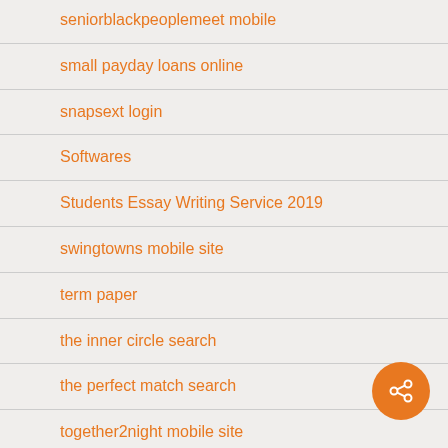seniorblackpeoplemeet mobile
small payday loans online
snapsext login
Softwares
Students Essay Writing Service 2019
swingtowns mobile site
term paper
the inner circle search
the perfect match search
together2night mobile site
Top Dating Sites Reviews